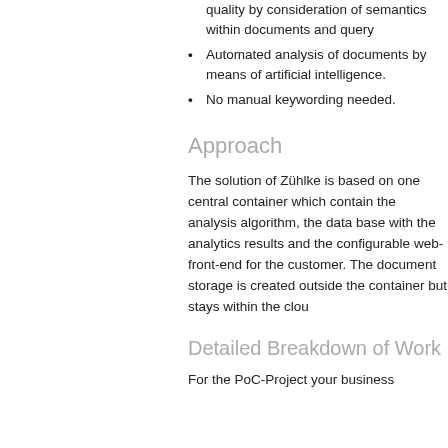quality by consideration of semantics within documents and query
Automated analysis of documents by means of artificial intelligence.
No manual keywording needed.
Approach
The solution of Zühlke is based on one central container which contains the analysis algorithm, the data base with the analytics results and the configurable web-front-end for the customer. The document storage is created outside the container but stays within the clou
Detailed Breakdown of Work
For the PoC-Project your business